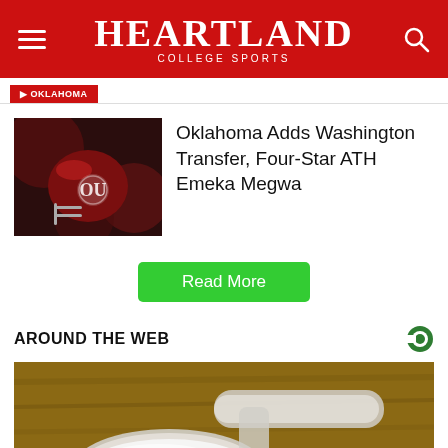Heartland College Sports
Oklahoma Adds Washington Transfer, Four-Star ATH Emeka Megwa
Read More
AROUND THE WEB
[Figure (photo): Plastic measuring scoop with white powder on a wooden surface]